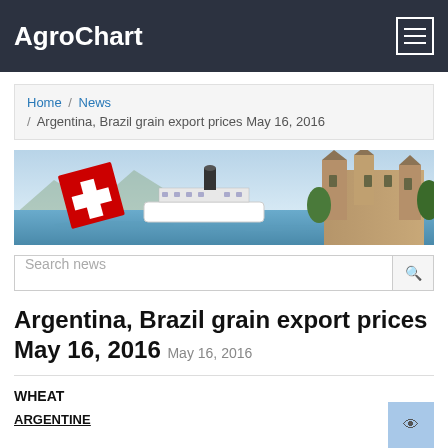AgroChart
Home / News / Argentina, Brazil grain export prices May 16, 2016
[Figure (photo): Banner image showing a Swiss flag, a paddle steamer on a lake, and a castle (Chillon Castle) with mountains in the background.]
Search news
Argentina, Brazil grain export prices May 16, 2016  May 16, 2016
WHEAT
ARGENTINE